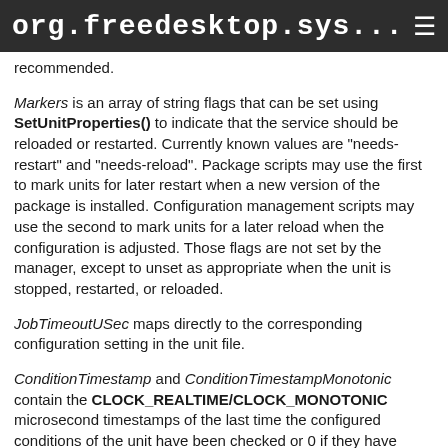org.freedesktop.sys...
recommended.
Markers is an array of string flags that can be set using SetUnitProperties() to indicate that the service should be reloaded or restarted. Currently known values are "needs-restart" and "needs-reload". Package scripts may use the first to mark units for later restart when a new version of the package is installed. Configuration management scripts may use the second to mark units for a later reload when the configuration is adjusted. Those flags are not set by the manager, except to unset as appropriate when the unit is stopped, restarted, or reloaded.
JobTimeoutUSec maps directly to the corresponding configuration setting in the unit file.
ConditionTimestamp and ConditionTimestampMonotonic contain the CLOCK_REALTIME/CLOCK_MONOTONIC microsecond timestamps of the last time the configured conditions of the unit have been checked or 0 if they have never been checked. Conditions are checked when a unit is requested to start.